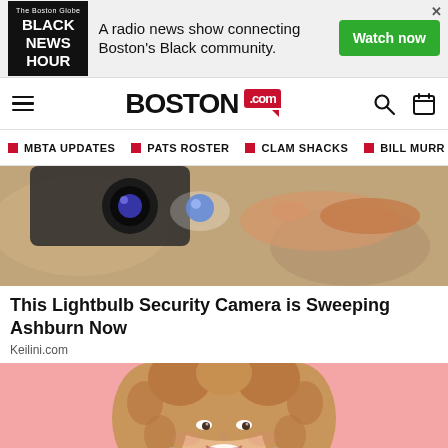[Figure (other): Black News Hour advertisement banner - A radio news show connecting Boston's Black community. Watch now button.]
BOSTON.com
MBTA UPDATES
PATS ROSTER
CLAM SHACKS
BILL MURR
[Figure (photo): A hand pressing a blue button on a security camera mounted on a wall or ceiling]
This Lightbulb Security Camera is Sweeping Ashburn Now
Keilini.com
[Figure (photo): A smiling young woman with curly hair on a pink background]